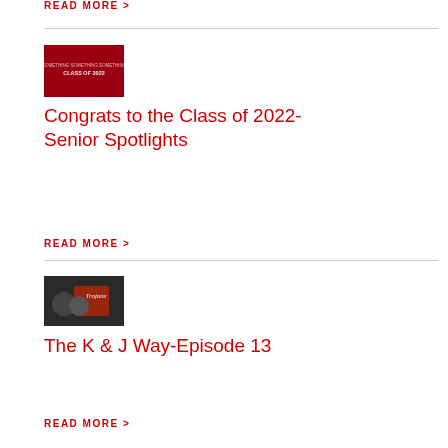READ MORE >
[Figure (photo): Red banner image reading CLASS OF 2022]
Congrats to the Class of 2022-Senior Spotlights
READ MORE >
[Figure (photo): Photo with Trojans text overlay showing people in red shirts]
The K & J Way-Episode 13
READ MORE >